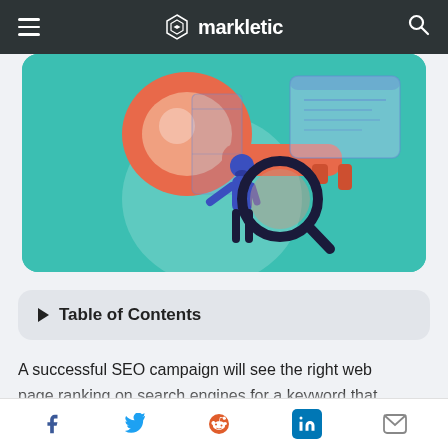markletic
[Figure (illustration): Illustration of a person holding a magnifying glass over a large red key, with a web browser/window in the background, on a teal/green background]
▶ Table of Contents
A successful SEO campaign will see the right web page ranking on search engines for a keyword that
Social share icons: Facebook, Twitter, Reddit, LinkedIn, Email